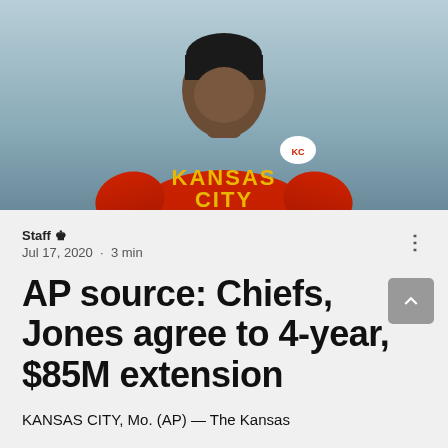[Figure (photo): NFL player wearing red Kansas City Chiefs long-sleeve shirt, photographed from waist up against blurred outdoor background]
Staff 🜲
Jul 17, 2020 · 3 min
AP source: Chiefs, Jones agree to 4-year, $85M extension
KANSAS CITY, Mo. (AP) — The Kansas